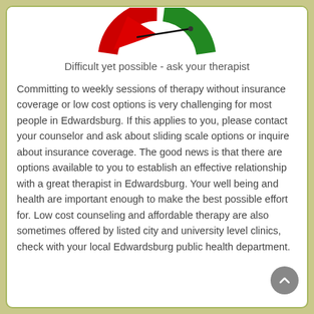[Figure (other): Gauge/speedometer dial with red section on left, green section on right, and needle pointing left into red zone]
Difficult yet possible - ask your therapist
Committing to weekly sessions of therapy without insurance coverage or low cost options is very challenging for most people in Edwardsburg. If this applies to you, please contact your counselor and ask about sliding scale options or inquire about insurance coverage. The good news is that there are options available to you to establish an effective relationship with a great therapist in Edwardsburg. Your well being and health are important enough to make the best possible effort for. Low cost counseling and affordable therapy are also sometimes offered by listed city and university level clinics, check with your local Edwardsburg public health department.